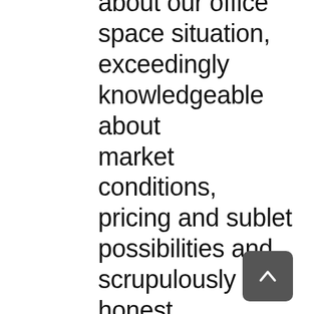about our office space situation, exceedingly knowledgeable about market conditions, pricing and sublet possibilities and scrupulously honest and straight with us. With significant effort, Ruth marketed a sublet on our half floor and found an appropriate non-legal subtenant. She guided us in pricing our space at 90 Park Avenue and negotiated the essential elements of the sublease on our behalf. In addition, she obtained appropriate consents from our landlord and